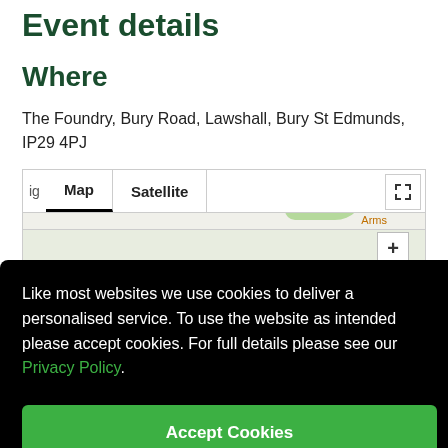Event details
Where
The Foundry, Bury Road, Lawshall, Bury St Edmunds, IP29 4PJ
[Figure (map): Google Map showing location with Map/Satellite tab options and fullscreen button]
Like most websites we use cookies to deliver a personalised service. To use the website as intended please accept cookies. For full details please see our Privacy Policy.
Accept Cookies